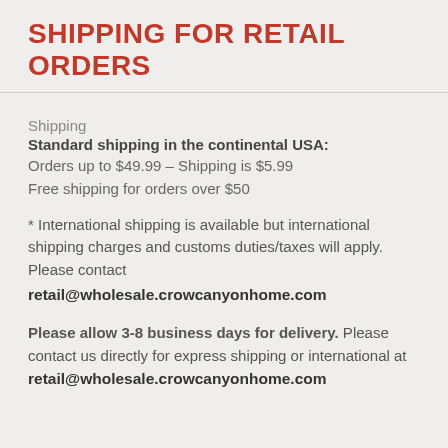SHIPPING FOR RETAIL ORDERS
Shipping
Standard shipping in the continental USA:
Orders up to $49.99 – Shipping is $5.99
Free shipping for orders over $50
* International shipping is available but international shipping charges and customs duties/taxes will apply. Please contact retail@wholesale.crowcanyonhome.com
Please allow 3-8 business days for delivery. Please contact us directly for express shipping or international at retail@wholesale.crowcanyonhome.com